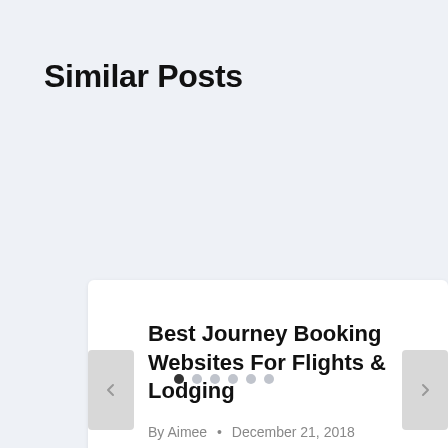Similar Posts
Best Journey Booking Websites For Flights & Lodging
By Aimee • December 21, 2018